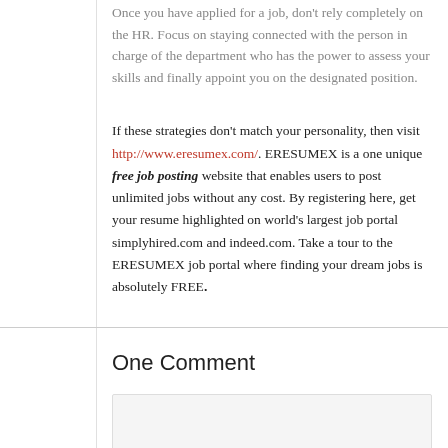Once you have applied for a job, don't rely completely on the HR. Focus on staying connected with the person in charge of the department who has the power to assess your skills and finally appoint you on the designated position.
If these strategies don't match your personality, then visit http://www.eresumex.com/. ERESUMEX is a one unique free job posting website that enables users to post unlimited jobs without any cost. By registering here, get your resume highlighted on world's largest job portal simplyhired.com and indeed.com. Take a tour to the ERESUMEX job portal where finding your dream jobs is absolutely FREE.
One Comment